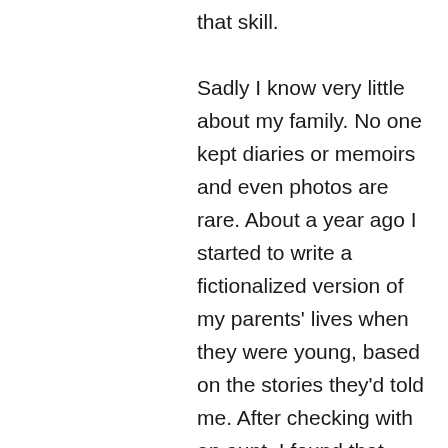that skill.

Sadly I know very little about my family. No one kept diaries or memoirs and even photos are rare. About a year ago I started to write a fictionalized version of my parents' lives when they were young, based on the stories they'd told me. After checking with an aunt, I found that almost none of what my mom had told was true. Whether a result of her lazy memory or trying to keep me from knowing her past, I'll never know. And my father had left out the most interesting stories of his family, ones for which his